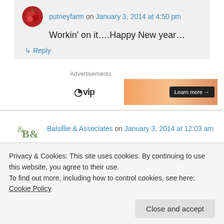putneyfarm on January 3, 2014 at 4:50 pm
Workin' on it….Happy New year…
↳ Reply
Advertisements
[Figure (screenshot): Advertisement banner with logo and Learn more button]
Balsillie & Associates on January 3, 2014 at 12:03 am
Privacy & Cookies: This site uses cookies. By continuing to use this website, you agree to their use.
To find out more, including how to control cookies, see here: Cookie Policy
Close and accept
putneyfarm on January 3, 2014 at 4:52 pm